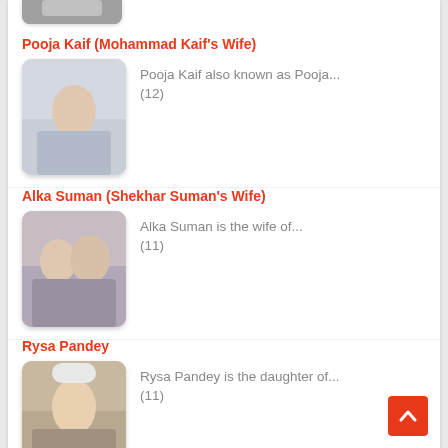[Figure (photo): Partial thumbnail image at top of page, cropped]
Pooja Kaif (Mohammad Kaif's Wife)
[Figure (photo): Photo of Pooja Kaif]
Pooja Kaif also known as Pooja... (12)
Alka Suman (Shekhar Suman's Wife)
[Figure (photo): Photo of Alka Suman with Shekhar Suman]
Alka Suman is the wife of... (11)
Rysa Pandey
[Figure (photo): Photo of Rysa Pandey wearing a white beanie hat]
Rysa Pandey is the daughter of... (11)